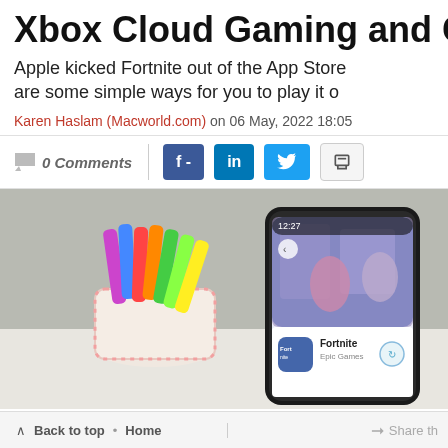Xbox Cloud Gaming and G...
Apple kicked Fortnite out of the App Store... are some simple ways for you to play it o...
Karen Haslam (Macworld.com) on 06 May, 2022 18:05
0 Comments
[Figure (photo): A smartphone showing the Fortnite app page next to a cup holding colorful markers/highlighter pens on a white desk]
Back to top • Home    Share th...